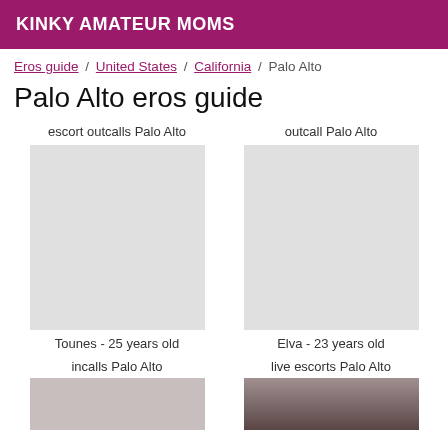KINKY AMATEUR MOMS
Eros guide / United States / California / Palo Alto
Palo Alto eros guide
escort outcalls Palo Alto
outcall Palo Alto
Tounes - 25 years old
Elva - 23 years old
incalls Palo Alto
live escorts Palo Alto
[Figure (photo): Partial photo of a woman visible at bottom right of page]